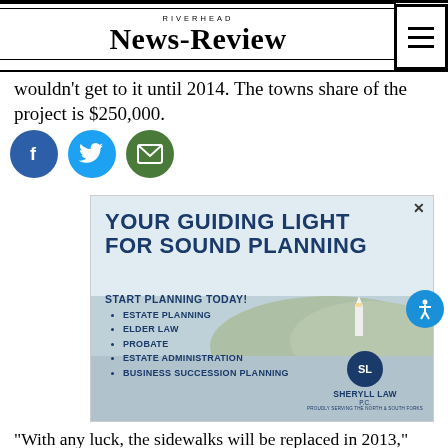RIVERHEAD NEWS-REVIEW
wouldn't get to it until 2014. The towns share of the project is $250,000.
[Figure (other): Social media sharing icons: Facebook, Twitter, Email]
[Figure (other): Advertisement for Sheryll Law PC: YOUR GUIDING LIGHT FOR SOUND PLANNING. START PLANNING TODAY! Estate Planning, Elder Law, Probate, Estate Administration, Business Succession Planning. Proudly serving the North & South Forks.]
“With any luck, the sidewalks will be replaced in 2013,” Mr. Walter said last Thursday.